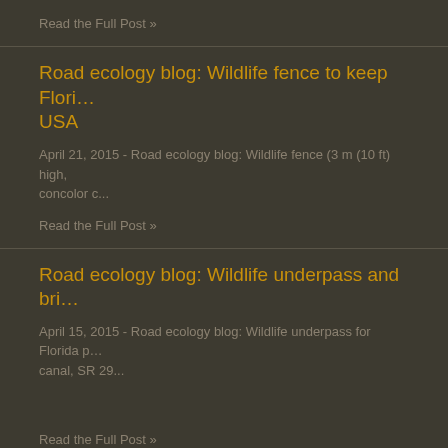Read the Full Post »
Road ecology blog: Wildlife fence to keep Flori… USA
April 21, 2015 - Road ecology blog: Wildlife fence (3 m (10 ft) high, concolor c...
Read the Full Post »
Road ecology blog: Wildlife underpass and bri…
April 15, 2015 - Road ecology blog: Wildlife underpass for Florida p… canal, SR 29...
Read the Full Post »
Road ecology blog: Wildlife fence in… (truncated)